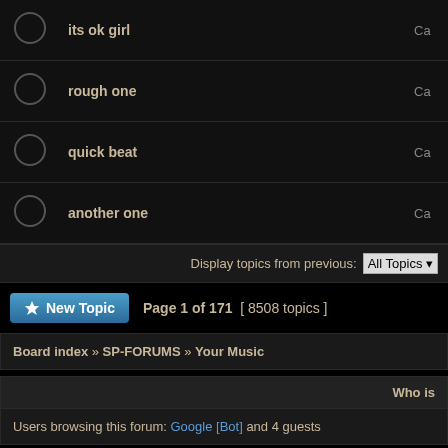|  | Topic |  |
| --- | --- | --- |
| ○ | its ok girl | Ca |
| ○ | rough one | Ca |
| ○ | quick beat | Ca |
| ○ | another one | Ca |
Display topics from previous: All Topics
New Topic  Page 1 of 171 [ 8508 topics ]
Board index » SP-FORUMS » Your Music
Who is
Users browsing this forum: Google [Bot] and 4 guests
Search for:  Go